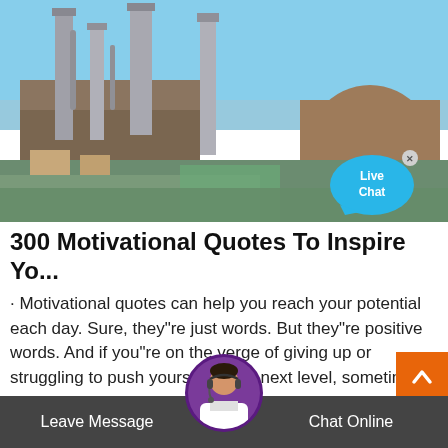[Figure (photo): Industrial factory/refinery with tall smokestacks and silos against a blue sky. A 'Live Chat' speech bubble overlay appears in the bottom-right corner of the image.]
300 Motivational Quotes To Inspire Yo...
· Motivational quotes can help you reach your potential each day. Sure, they"re just words. But they"re positive words. And if you"re on the verge of giving up or struggling to push yourself to the next level, sometimes that"s just you need. So whether you ...
Leave Message   Chat Online